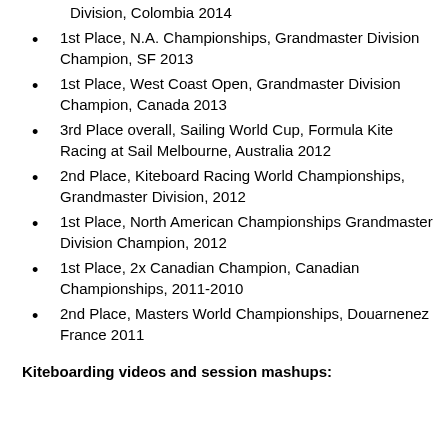Division, Colombia 2014
1st Place, N.A. Championships, Grandmaster Division Champion, SF 2013
1st Place, West Coast Open, Grandmaster Division Champion, Canada 2013
3rd Place overall, Sailing World Cup, Formula Kite Racing at Sail Melbourne, Australia 2012
2nd Place, Kiteboard Racing World Championships, Grandmaster Division, 2012
1st Place, North American Championships Grandmaster Division Champion, 2012
1st Place, 2x Canadian Champion, Canadian Championships, 2011-2010
2nd Place, Masters World Championships, Douarnenez France 2011
Kiteboarding videos and session mashups: